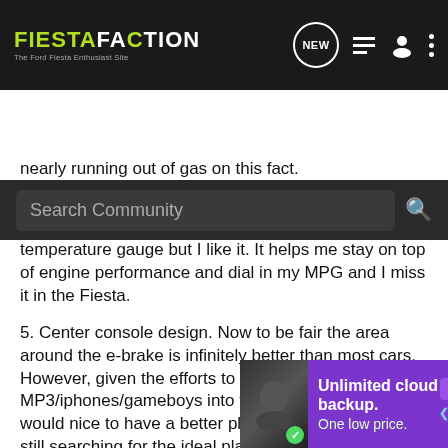[Figure (screenshot): FiestaFaction website navigation bar with logo, search bar, and icons]
nearly running out of gas on this fact.
4. Engine temperature gauge MIA. I know 95% of the driving public doesn't realize they even have a temperature gauge but I like it. It helps me stay on top of engine performance and dial in my MPG and I miss it in the Fiesta.
5. Center console design. Now to be fair the area around the e-brake is infinitely better than most cars. However, given the efforts to integrate MP3/iphones/gameboys into the car in this location, it would nice to have a better place to place them. I am still searching for the ideal place to put my iphone while it is charging. This may seem a bit silly, but it sucks to have the phone g... recessio... he
[Figure (screenshot): Advertisement overlay: Unlimited cloud backup. One low price. Carbonite Backup + Restore. Learn More button.]